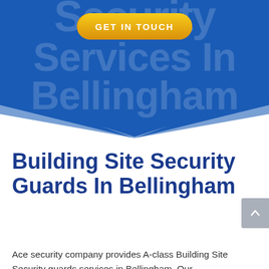[Figure (infographic): Blue hero banner with large semi-transparent text reading 'Security Services In Bellingham', a yellow 'GET IN TOUCH' button, and a downward chevron arrow shape at the bottom]
Building Site Security Guards In Bellingham
Ace security company provides A-class Building Site Security guards services in Bellingham. Our